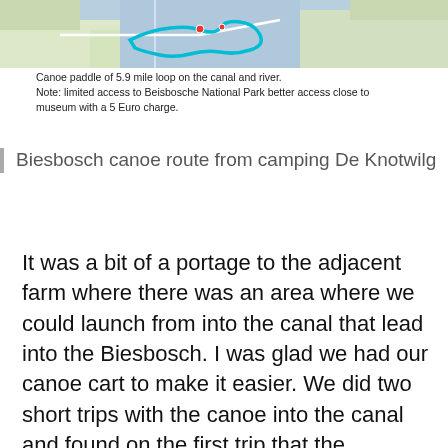[Figure (map): Aerial/street map showing a canoe route loop on a canal and river near Biesbosch, with a turquoise/cyan route drawn on the map.]
Canoe paddle of 5.9 mile loop on the canal and river.
Note: limited access to Beisbosche National Park better access close to museum with a 5 Euro charge.
Biesbosch canoe route from camping De Knotwilg
It was a bit of a portage to the adjacent farm where there was an area where we could launch from into the canal that lead into the Biesbosch. I was glad we had our canoe cart to make it easier. We did two short trips with the canoe into the canal and found on the first trip that the Biesbosch entrance was closed to all boat traffic. This was also the trip where we had our rain gear packed in our day packs but not close enough to grab. This was our poor planning and left us mid-way in